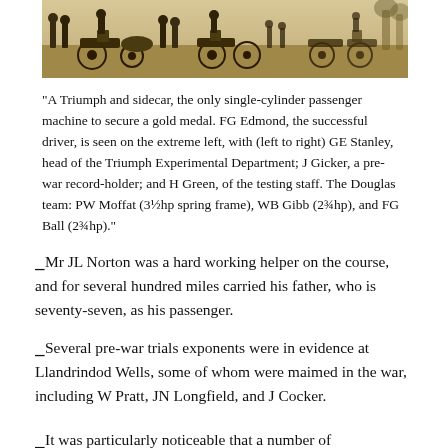[Figure (photo): Sepia-toned historical photograph showing a group of people with motorcycles and sidecars, cropped at the top of the page.]
"A Triumph and sidecar, the only single-cylinder passenger machine to secure a gold medal. FG Edmond, the successful driver, is seen on the extreme left, with (left to right) GE Stanley, head of the Triumph Experimental Department; J Gicker, a pre-war record-holder; and H Green, of the testing staff. The Douglas team: PW Moffat (3½hp spring frame), WB Gibb (2¾hp), and FG Ball (2¾hp)."
Mr JL Norton was a hard working helper on the course, and for several hundred miles carried his father, who is seventy-seven, as his passenger.
Several pre-war trials exponents were in evidence at Llandrindod Wells, some of whom were maimed in the war, including W Pratt, JN Longfield, and J Cocker.
It was particularly noticeable that a number of manufacturers were present, and that they